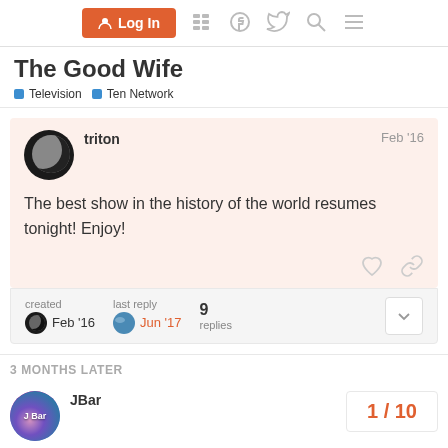Log In
The Good Wife
Television  Ten Network
triton  Feb '16
The best show in the history of the world resumes tonight! Enjoy!
created Feb '16  last reply Jun '17  9 replies
3 MONTHS LATER
JBar  1 / 10